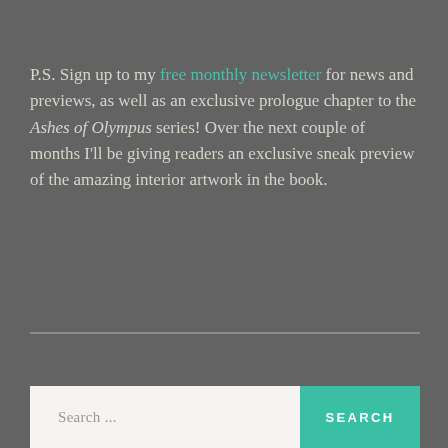P.S. Sign up to my free monthly newsletter for news and previews, as well as an exclusive prologue chapter to the Ashes of Olympus series! Over the next couple of months I'll be giving readers an exclusive sneak preview of the amazing interior artwork in the book.